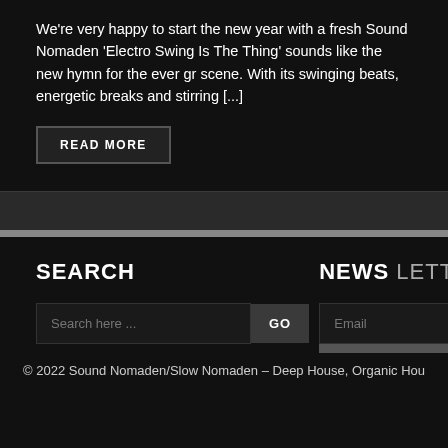We're very happy to start the new year with a fresh Sound Nomaden  Electro Swing Is The Thing' sounds like the new hymn for the ever gr scene. With its swinging beats, energetic breaks and stirring [...]
READ MORE
SEARCH
NEWS LETTER
Search here ...
GO
Email
Subscribe
© 2022 Sound Nomaden/Slow Nomaden – Deep House, Organic Hou